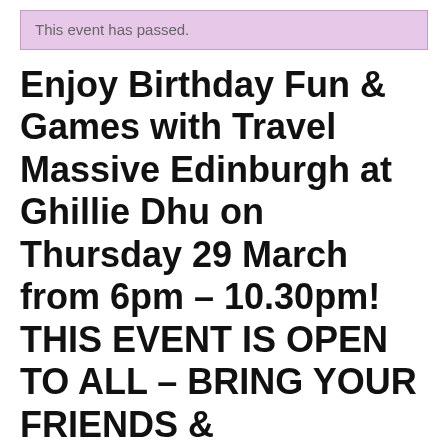This event has passed.
Enjoy Birthday Fun & Games with Travel Massive Edinburgh at Ghillie Dhu on Thursday 29 March from 6pm – 10.30pm! THIS EVENT IS OPEN TO ALL – BRING YOUR FRIENDS & COLLEAGUES!
You're invited! Join us to:
Celebrate Travel Massive Edinburgh's 3rd